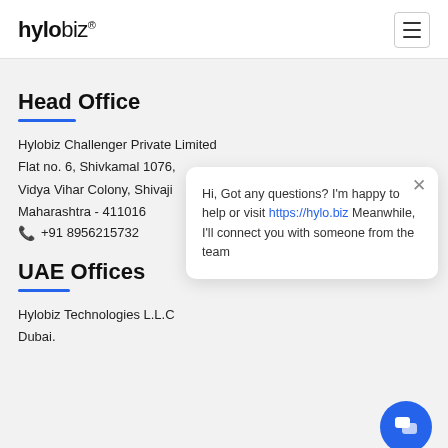hylobiz® [hamburger menu icon]
Head Office
Hylobiz Challenger Private Limited
Flat no. 6, Shivkamal 1076,
Vidya Vihar Colony, Shivaji
Maharashtra - 411016
☎ +91 8956215732
[Figure (screenshot): Chat popup widget showing message: Hi, Got any questions? I'm happy to help or visit https://hylo.biz Meanwhile, I'll connect you with someone from the team]
UAE Offices
Hylobiz Technologies L.L.C
Dubai.